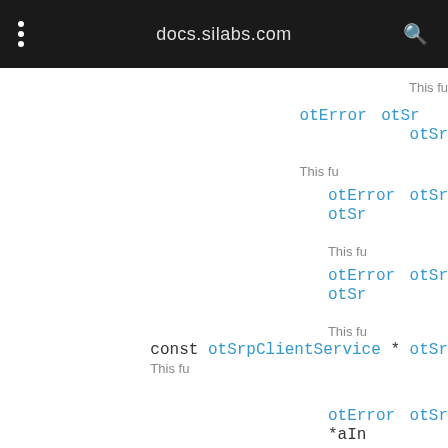docs.silabs.com
This fu
otError   otSr
          otSr
          This fu
otError   otSr
          otSr
          This fu
otError   otSr
          otSr
          This fu
const otSrpClientService *   otSr
                             This fu
otError   otSr
          *aIn
          aSen